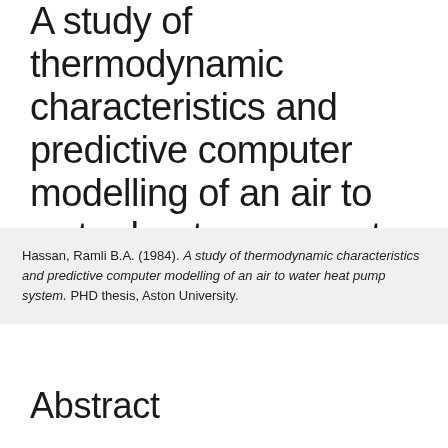A study of thermodynamic characteristics and predictive computer modelling of an air to water heat pump system
Hassan, Ramli B.A. (1984). A study of thermodynamic characteristics and predictive computer modelling of an air to water heat pump system. PHD thesis, Aston University.
Abstract